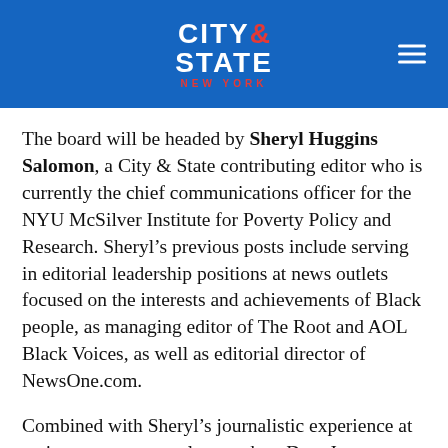CITY & STATE NEW YORK
The board will be headed by Sheryl Huggins Salomon, a City & State contributing editor who is currently the chief communications officer for the NYU McSilver Institute for Poverty Policy and Research. Sheryl’s previous posts include serving in editorial leadership positions at news outlets focused on the interests and achievements of Black people, as managing editor of The Root and AOL Black Voices, as well as editorial director of NewsOne.com.
Combined with Sheryl’s journalistic experience at mainstream news outlets, such as Dow Jones Newswires, Fortune’s erstwhile FSB.com digital outlet, and the Asbury Park Press, these experiences